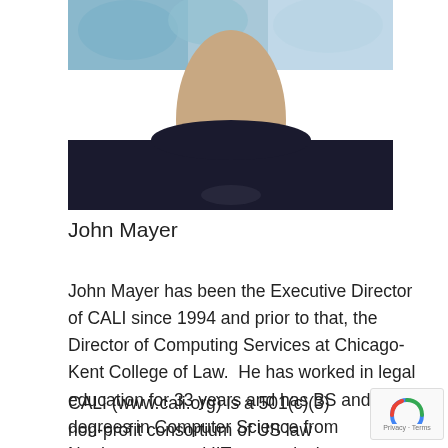[Figure (photo): Headshot photo of John Mayer, a man wearing a dark navy t-shirt, with a colorful painting visible in the background]
John Mayer
John Mayer has been the Executive Director of CALI since 1994 and prior to that, the Director of Computing Services at Chicago-Kent College of Law.  He has worked in legal education for 33 years and has BS and MS degrees in Computer Science from Northwestern and IIT respectively.
CALI (www.cali.org) is a 501(c)(3) non-profit consortium of US law schools that sits at the intersection of legal education + technology.  CALI